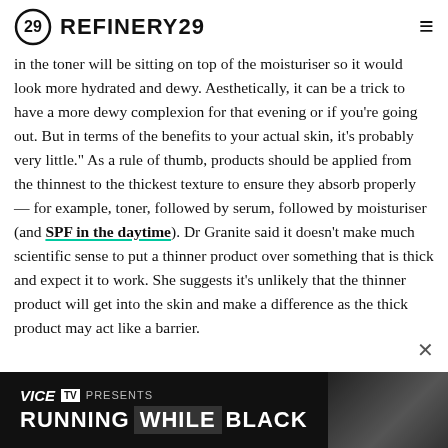REFINERY29
in the toner will be sitting on top of the moisturiser so it would look more hydrated and dewy. Aesthetically, it can be a trick to have a more dewy complexion for that evening or if you're going out. But in terms of the benefits to your actual skin, it's probably very little." As a rule of thumb, products should be applied from the thinnest to the thickest texture to ensure they absorb properly — for example, toner, followed by serum, followed by moisturiser (and SPF in the daytime). Dr Granite said it doesn't make much scientific sense to put a thinner product over something that is thick and expect it to work. She suggests it's unlikely that the thinner product will get into the skin and make a difference as the thick product may act like a barrier.
[Figure (screenshot): VICE TV PRESENTS advertisement banner: RUNNING WHILE BLACK]